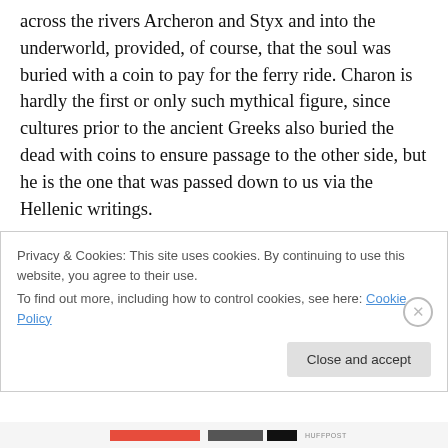across the rivers Archeron and Styx and into the underworld, provided, of course, that the soul was buried with a coin to pay for the ferry ride. Charon is hardly the first or only such mythical figure, since cultures prior to the ancient Greeks also buried the dead with coins to ensure passage to the other side, but he is the one that was passed down to us via the Hellenic writings.

He transitioned more or less intact into modern Christian culture thanks to Dante. In Dante's construct of Hell, Charon presides over passage across the River Archeron
Privacy & Cookies: This site uses cookies. By continuing to use this website, you agree to their use.
To find out more, including how to control cookies, see here: Cookie Policy
Close and accept